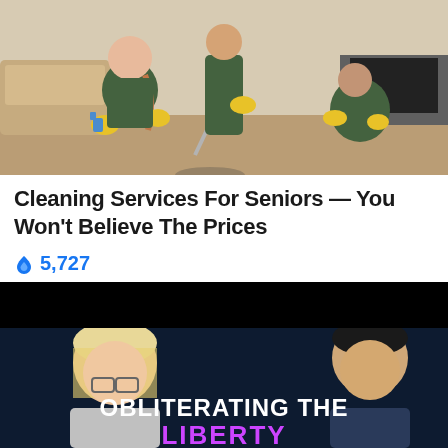[Figure (photo): Three professional cleaners in green overalls and yellow rubber gloves cleaning a room. A woman in the foreground is crouching and spraying a surface, a second person is mopping the floor, and a third is cleaning near a TV in the background.]
Cleaning Services For Seniors — You Won't Believe The Prices
🔥 5,727
Sponsored Ad
[Figure (photo): Dark background with two people visible (a blonde woman with glasses on the left and an Asian man on the right). Bold white text reads 'OBLITERATING THE' and below it purple text reads 'LIBERTY' (partially visible).]